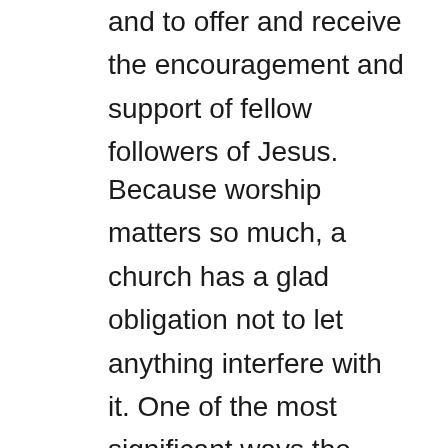and to offer and receive the encouragement and support of fellow followers of Jesus.
Because worship matters so much, a church has a glad obligation not to let anything interfere with it. One of the most significant ways the church has, throughout history, borne witness to its faith is to gather on Sunday, no matter what, to worship God. I have heard now-elderly Londoners describe the worship they shared in bombed-out cathedrals during WW II. I have listened to citizens of the former Soviet Union speak of assembling for worship each Sunday despite